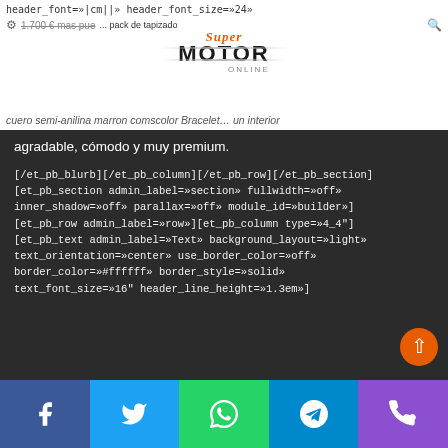header_font=»|cm||» header_font_size=»24»
1.700 € mas pue... pack de tapizado cuero semi-anilina marron comscolor Bracelet... un interior agradable, cómodo y muy premium.
[Figure (logo): SuperMotor Online logo with orange italic Super text and bold black MOTOR text with decorative lines]
[/et_pb_blurb][/et_pb_column][/et_pb_row][/et_pb_section] [et_pb_section admin_label=»section» fullwidth=»off» inner_shadow=»off» parallax=»off» module_id=»builder»] [et_pb_row admin_label=»row»][et_pb_column type=»4_4″] [et_pb_text admin_label=»Text» background_layout=»light» text_orientation=»center» use_border_color=»off» border_color=»#ffffff» border_style=»solid» text_font_size=»16″ header_line_height=»1.3em»]
Video prueba del
Facebook Twitter WhatsApp Telegram Phone social share buttons